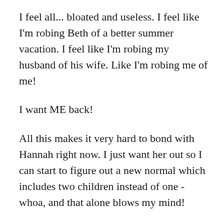I feel all... bloated and useless.  I feel like I'm robing Beth of a better summer vacation.  I feel like I'm robing my husband of his wife.  Like I'm robing me of me!
I want ME back!
All this makes it very hard to bond with Hannah right now. I just want her out so I can start to figure out a new normal which includes two children instead of one - whoa, and that alone blows my mind!
I guess I just like to be productive, and I hate it